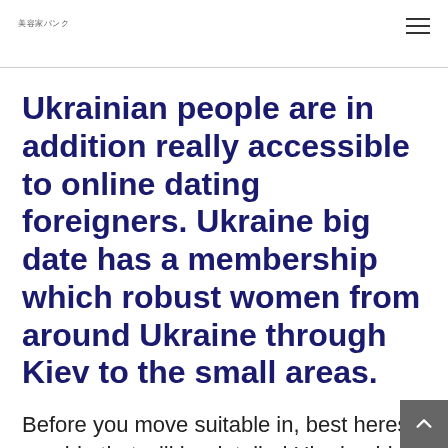美容家バンク
Ukrainian people are in addition really accessible to online dating foreigners. Ukraine big date has a membership which robust women from around Ukraine through Kiev to the small areas.
Before you move suitable in, best heres a guide that will be detailed Ukraine big